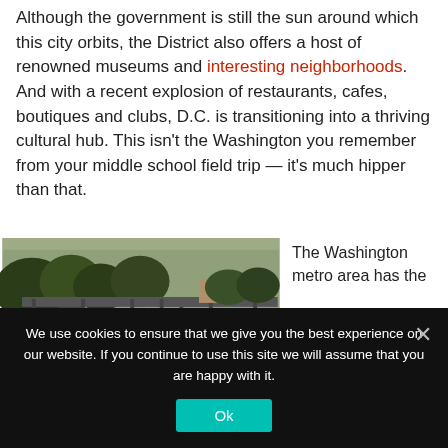Although the government is still the sun around which this city orbits, the District also offers a host of renowned museums and interesting neighborhoods. And with a recent explosion of restaurants, cafes, boutiques and clubs, D.C. is transitioning into a thriving cultural hub. This isn't the Washington you remember from your middle school field trip — it's much hipper than that.
[Figure (photo): Photo of a bridge over a river with trees in the foreground, Washington D.C. area]
The Washington metro area has the
We use cookies to ensure that we give you the best experience on our website. If you continue to use this site we will assume that you are happy with it.